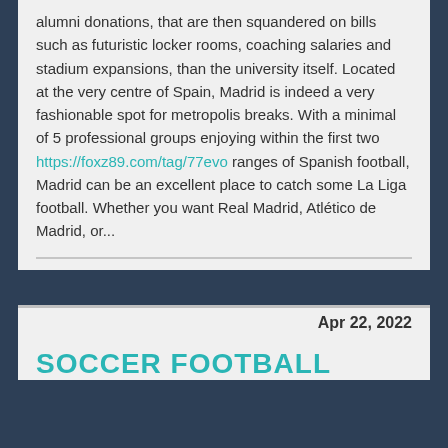alumni donations, that are then squandered on bills such as futuristic locker rooms, coaching salaries and stadium expansions, than the university itself. Located at the very centre of Spain, Madrid is indeed a very fashionable spot for metropolis breaks. With a minimal of 5 professional groups enjoying within the first two https://foxz89.com/tag/77evo ranges of Spanish football, Madrid can be an excellent place to catch some La Liga football. Whether you want Real Madrid, Atlético de Madrid, or...
Categories: Sports Online | Tags: Betting Tips | Permalink
Apr 22, 2022
SOCCER FOOTBALL